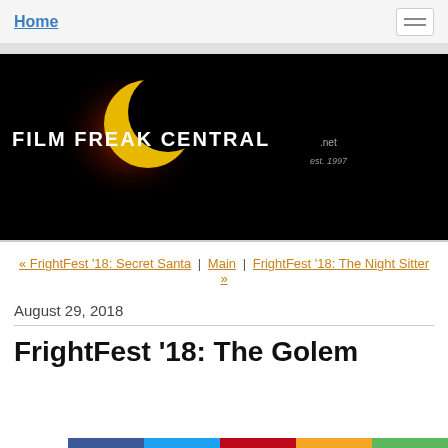Home
[Figure (logo): Film Freak Central logo — white text on black background with red and yellow crescent moon graphic. Text reads: FILM FREAK CENTRAL .net  est. 1997]
« FrightFest '18: Secret Santa | Main | FrightFest '18: The Night Sitter »
August 29, 2018
FrightFest '18: The Golem
98 Shares